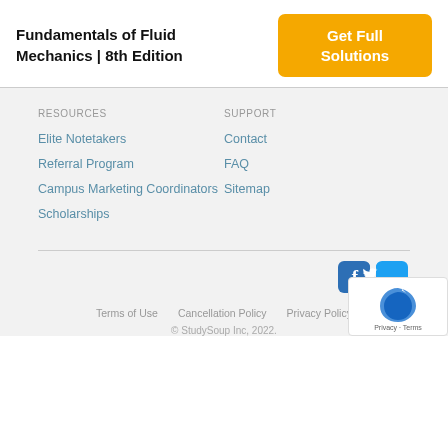Fundamentals of Fluid Mechanics | 8th Edition
[Figure (other): Orange button reading 'Get Full Solutions']
RESOURCES
Elite Notetakers
Referral Program
Campus Marketing Coordinators
Scholarships
SUPPORT
Contact
FAQ
Sitemap
[Figure (logo): Facebook and Twitter social media icons]
Terms of Use   Cancellation Policy   Privacy Policy
© StudySoup Inc, 2022.